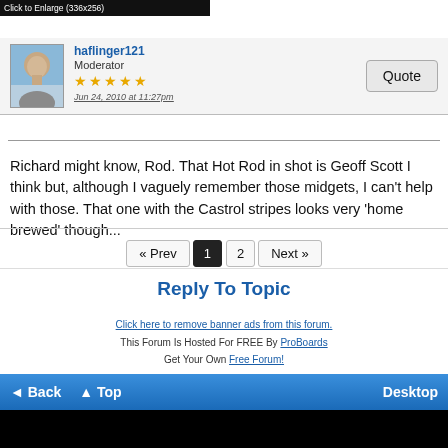[Figure (screenshot): Top black bar with 'Click to Enlarge (336x256)' text]
haflinger121
Moderator
★★★★★
Jun 24, 2010 at 11:27pm
Richard might know, Rod. That Hot Rod in shot is Geoff Scott I think but, although I vaguely remember those midgets, I can't help with those. That one with the Castrol stripes looks very 'home brewed' though...
« Prev  1  2  Next »
Reply To Topic
Click here to remove banner ads from this forum.
This Forum Is Hosted For FREE By ProBoards
Get Your Own Free Forum!
Terms of Service  Privacy  Cookies  FTC Disclosure  Report Abuse  Do Not Sell My Personal Information
◄ Back  ▲ Top  Desktop